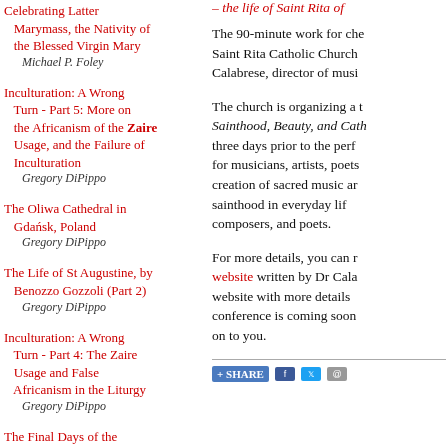– the life of Saint Rita of...
Celebrating Latter Marymass, the Nativity of the Blessed Virgin Mary
Michael P. Foley
Inculturation: A Wrong Turn - Part 5: More on the Africanism of the Zaire Usage, and the Failure of Inculturation
Gregory DiPippo
The Oliwa Cathedral in Gdańsk, Poland
Gregory DiPippo
The Life of St Augustine, by Benozzo Gozzoli (Part 2)
Gregory DiPippo
Inculturation: A Wrong Turn - Part 4: The Zaire Usage and False Africanism in the Liturgy
Gregory DiPippo
The Final Days of the...
The 90-minute work for che... Saint Rita Catholic Church... Calabrese, director of musi...
The church is organizing a t... Sainthood, Beauty, and Cath... three days prior to the perf... for musicians, artists, poets... creation of sacred music ar... sainthood in everyday lif... composers, and poets.
For more details, you can r... website written by Dr Cala... website with more details... conference is coming soon... on to you.